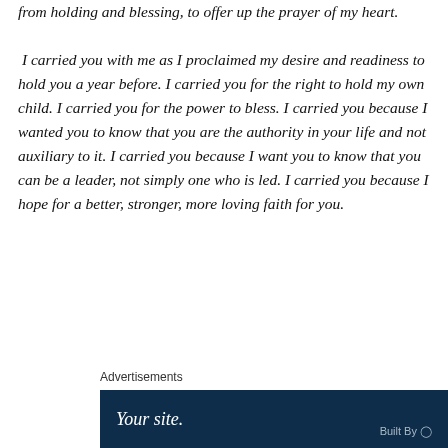from holding and blessing, to offer up the prayer of my heart.

 I carried you with me as I proclaimed my desire and readiness to hold you a year before. I carried you for the right to hold my own child. I carried you for the power to bless. I carried you because I wanted you to know that you are the authority in your life and not auxiliary to it. I carried you because I want you to know that you can be a leader, not simply one who is led. I carried you because I hope for a better, stronger, more loving faith for you.
Advertisements
[Figure (other): Advertisement banner with dark navy background showing 'Your site.' text in white and 'Built By' label on right side]